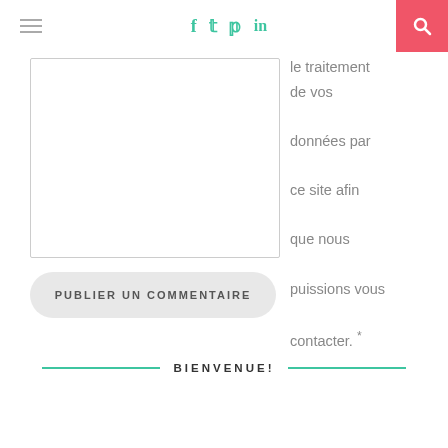Social icons: f, twitter, pinterest, in; search button
le traitement de vos données par ce site afin que nous puissions vous contacter. *
[Figure (other): Comment textarea input box]
PUBLIER UN COMMENTAIRE
BIENVENUE!